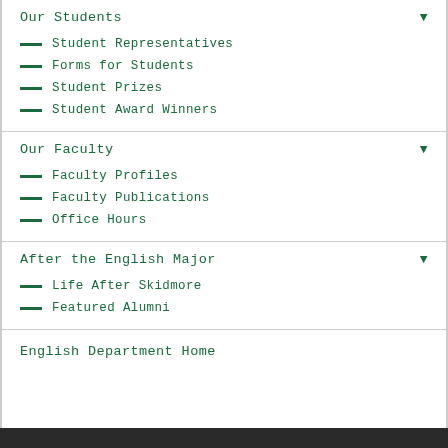Our Students
Student Representatives
Forms for Students
Student Prizes
Student Award Winners
Our Faculty
Faculty Profiles
Faculty Publications
Office Hours
After the English Major
Life After Skidmore
Featured Alumni
English Department Home